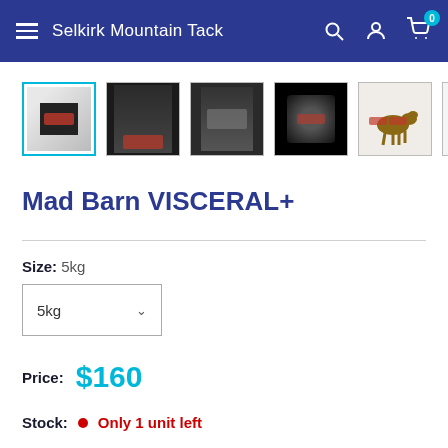Selkirk Mountain Tack
[Figure (screenshot): Six product thumbnail images for Mad Barn VISCERAL+. First thumbnail is selected (highlighted with cyan border). Images show product packaging (bag), close-ups, label details, a horse diagram, and a nutritional label.]
Mad Barn VISCERAL+
Size: 5kg
5kg (dropdown selector)
Price: $160
Stock: Only 1 unit left